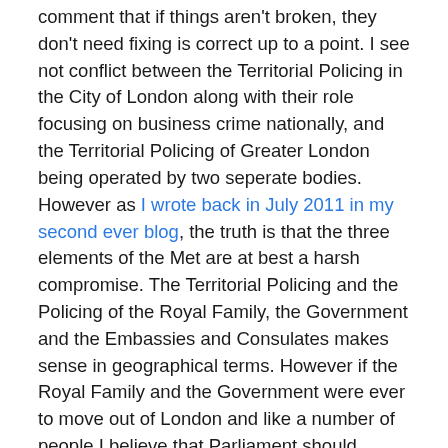comment that if things aren't broken, they don't need fixing is correct up to a point. I see not conflict between the Territorial Policing in the City of London along with their role focusing on business crime nationally, and the Territorial Policing of Greater London being operated by two seperate bodies. However as I wrote back in July 2011 in my second ever blog, the truth is that the three elements of the Met are at best a harsh compromise. The Territorial Policing and the Policing of the Royal Family, the Government and the Embassies and Consulates makes sense in geographical terms. However if the Royal Family and the Government were ever to move out of London and like a number of people I believe that Parliament should certainly do so, then that link would begin to break down. By the same token the link between the London Territorial Policing and Counter Terrorism does not really make much sense, except in the sense that many of the CT attacks